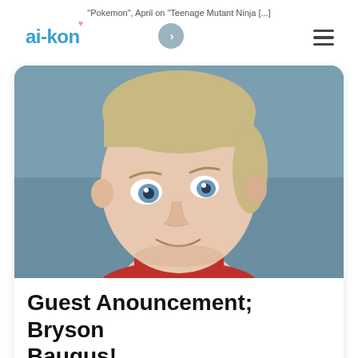"Pokemon", April on "Teenage Mutant Ninja [...]
[Figure (logo): ai-kon logo with heart symbol on white rounded pill button]
[Figure (photo): Close-up headshot of a young man with blue eyes, light brown hair, and a slight smile, wearing a red shirt, against a blue-grey background]
Guest Anouncement; Bryson Baugus!